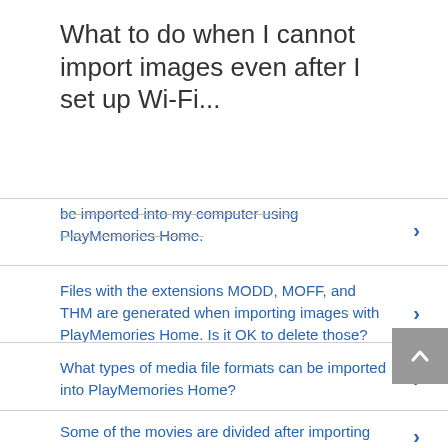What to do when I cannot import images even after I set up Wi-Fi...
be imported into my computer using PlayMemories Home.
Files with the extensions MODD, MOFF, and THM are generated when importing images with PlayMemories Home. Is it OK to delete those?
What types of media file formats can be imported into PlayMemories Home?
Some of the movies are divided after importing movies to the computer.